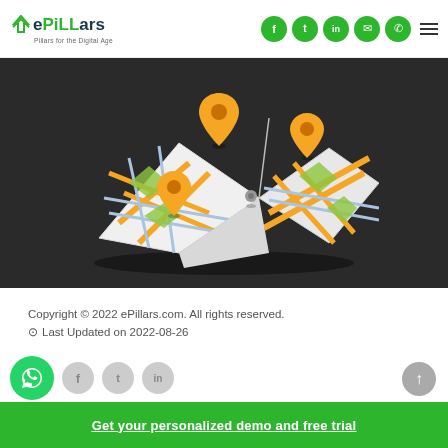ePiLLars - Pillars for the Digital Age
[Figure (illustration): 3D folded paper map with orange location pins on a dark background]
Copyright © 2022 ePillars.com. All rights reserved.
⊙ Last Updated on 2022-08-26
[Figure (other): WhatsApp button and social media icons (Facebook, Twitter, LinkedIn) in gray]
Get your personalized demo and free trial